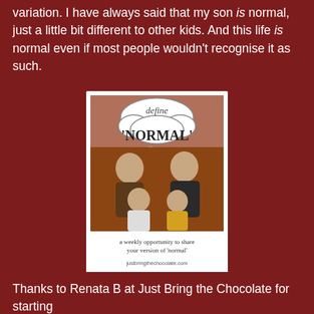variation. I have always said that my son is normal, just a little bit different to other kids. And this life is normal even if most people wouldn't recognise it as such.
[Figure (photo): Book or blog badge image reading 'define NORMAL' with a thought-bubble cloud graphic above a vintage family photo of two adults and two children. Below reads 'a weekly opportunity to share your version of normal' and 'justbringthechocolate.com']
Thanks to Renata B at Just Bring the Chocolate for starting